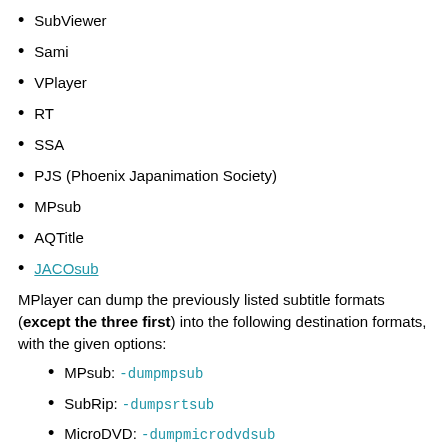SubViewer
Sami
VPlayer
RT
SSA
PJS (Phoenix Japanimation Society)
MPsub
AQTitle
JACOsub
MPlayer can dump the previously listed subtitle formats (except the three first) into the following destination formats, with the given options:
MPsub: -dumpmpsub
SubRip: -dumpsrtsub
MicroDVD: -dumpmicrodvdsub
JACOsub: -dumpjacosub